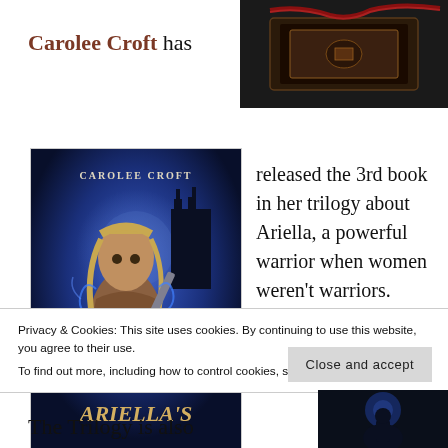Carolee Croft has
[Figure (photo): Dark photo of an ornate decorative box or chest, top-right corner of page]
[Figure (photo): Book cover of 'Ariella's' by Carolee Croft, showing a blonde female warrior holding a sword against a blue fantasy background]
released the 3rd book in her trilogy about Ariella, a powerful warrior when women weren't warriors.
I've read book one,
Privacy & Cookies: This site uses cookies. By continuing to use this website, you agree to their use.
To find out more, including how to control cookies, see here: Cookie Policy
Close and accept
The Trilogy is also
[Figure (photo): Dark fantasy image at bottom right, partially visible]